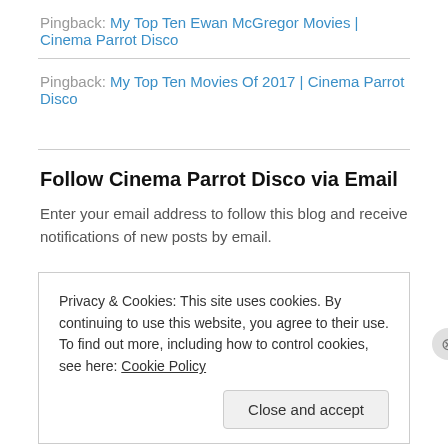Pingback: My Top Ten Ewan McGregor Movies | Cinema Parrot Disco
Pingback: My Top Ten Movies Of 2017 | Cinema Parrot Disco
Follow Cinema Parrot Disco via Email
Enter your email address to follow this blog and receive notifications of new posts by email.
Privacy & Cookies: This site uses cookies. By continuing to use this website, you agree to their use. To find out more, including how to control cookies, see here: Cookie Policy
Close and accept